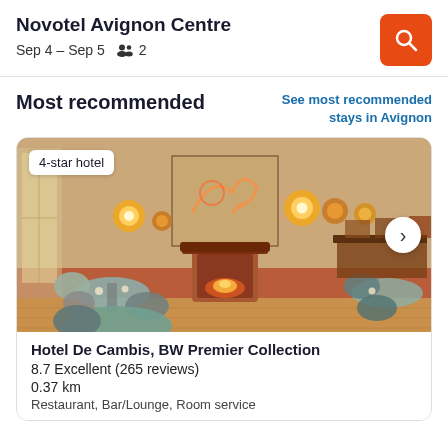Novotel Avignon Centre
Sep 4 – Sep 5    2
Most recommended
See most recommended stays in Avignon
[Figure (photo): Interior photo of a 4-star hotel restaurant/lounge with warm terracotta walls, round pendant lights, a fireplace, and modern chairs and tables with orange placemats.]
Hotel De Cambis, BW Premier Collection
8.7 Excellent (265 reviews)
0.37 km
Restaurant, Bar/Lounge, Room service